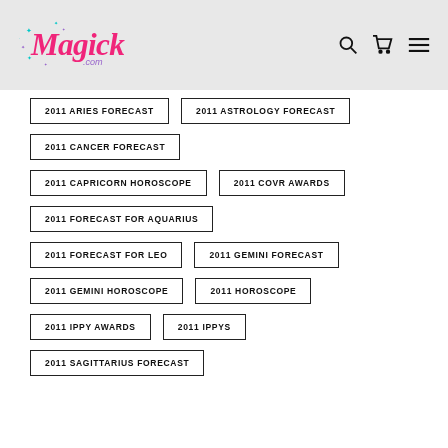Magick.com
2011 ARIES FORECAST
2011 ASTROLOGY FORECAST
2011 CANCER FORECAST
2011 CAPRICORN HOROSCOPE
2011 COVR AWARDS
2011 FORECAST FOR AQUARIUS
2011 FORECAST FOR LEO
2011 GEMINI FORECAST
2011 GEMINI HOROSCOPE
2011 HOROSCOPE
2011 IPPY AWARDS
2011 IPPYS
2011 SAGITTARIUS FORECAST